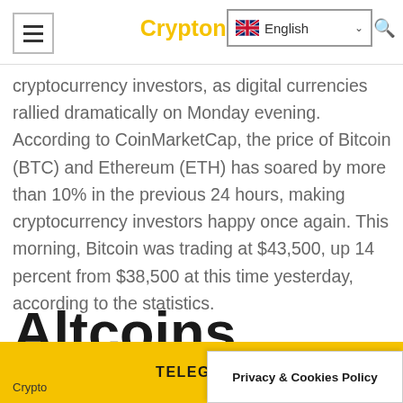Cryptonews24
cryptocurrency investors, as digital currencies rallied dramatically on Monday evening. According to CoinMarketCap, the price of Bitcoin (BTC) and Ethereum (ETH) has soared by more than 10% in the previous 24 hours, making cryptocurrency investors happy once again. This morning, Bitcoin was trading at $43,500, up 14 percent from $38,500 at this time yesterday, according to the statistics.
Altcoins Follow Surge
TELEGRAM
Privacy & Cookies Policy